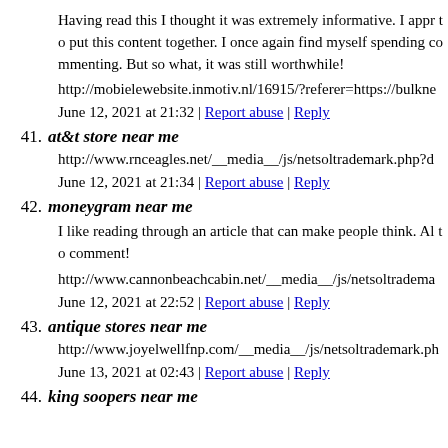Having read this I thought it was extremely informative. I appr to put this content together. I once again find myself spending commenting. But so what, it was still worthwhile!
http://mobielewebsite.inmotiv.nl/16915/?referer=https://bulkne
June 12, 2021 at 21:32 | Report abuse | Reply
41. at&t store near me
http://www.rnceagles.net/__media__/js/netsoltrademark.php?d
June 12, 2021 at 21:34 | Report abuse | Reply
42. moneygram near me
I like reading through an article that can make people think. Al to comment!
http://www.cannonbeachcabin.net/__media__/js/netsoltrадema
June 12, 2021 at 22:52 | Report abuse | Reply
43. antique stores near me
http://www.joyelwellfnp.com/__media__/js/netsoltrademark.ph
June 13, 2021 at 02:43 | Report abuse | Reply
44. king soopers near me